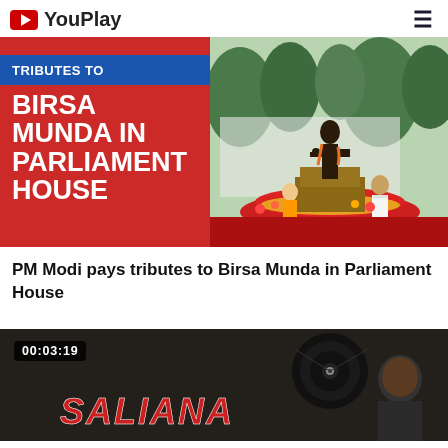YouPlay
[Figure (screenshot): Video thumbnail showing 'Tributes to Birsa Munda in Parliament House' with red background text on left and photo of PM Modi paying tribute at a statue on right]
PM Modi pays tributes to Birsa Munda in Parliament House
[Figure (screenshot): Second video thumbnail with dark background, showing duration 00:03:19, partial text 'Saliana' in red, vinyl record and person visible]